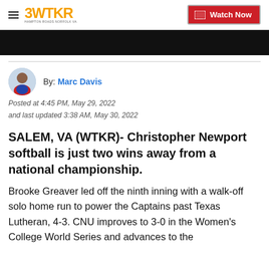3WTKR — Watch Now
[Figure (photo): Black video thumbnail bar]
By: Marc Davis
Posted at 4:45 PM, May 29, 2022
and last updated 3:38 AM, May 30, 2022
SALEM, VA (WTKR)- Christopher Newport softball is just two wins away from a national championship.
Brooke Greaver led off the ninth inning with a walk-off solo home run to power the Captains past Texas Lutheran, 4-3. CNU improves to 3-0 in the Women's College World Series and advances to the